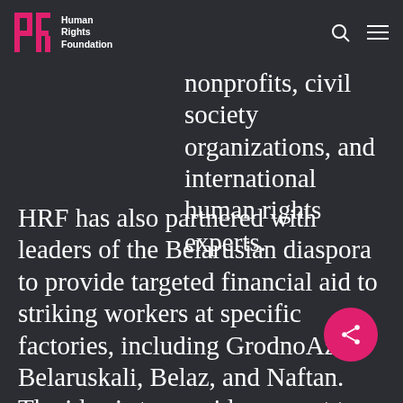Human Rights Foundation
collaboration with Belarusian nonprofits, civil society organizations, and international human rights experts.
HRF has also partnered with leaders of the Belarusian diaspora to provide targeted financial aid to striking workers at specific factories, including GrodnoAzot, Belaruskali, Belaz, and Naftan. The idea is to provide support to enough striking workers to effectively shut down operations at each factory, adding more